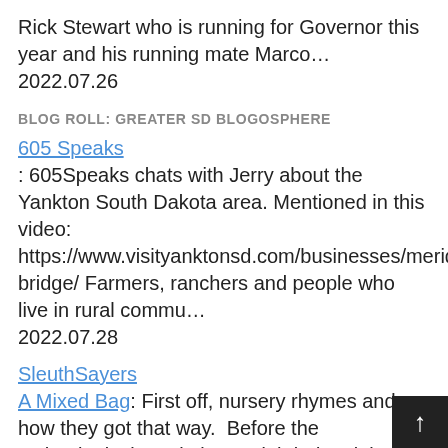Rick Stewart who is running for Governor this year and his running mate Marco…
2022.07.26
BLOG ROLL: GREATER SD BLOGOSPHERE
605 Speaks : 605Speaks chats with Jerry about the Yankton South Dakota area. Mentioned in this video: https://www.visityanktonsd.com/businesses/meridian-bridge/ Farmers, ranchers and people who live in rural commu… 2022.07.28
SleuthSayers A Mixed Bag: First off, nursery rhymes and how they got that way. Before the technological revolution and the industrial revolution, life was very, very quiet, and yo